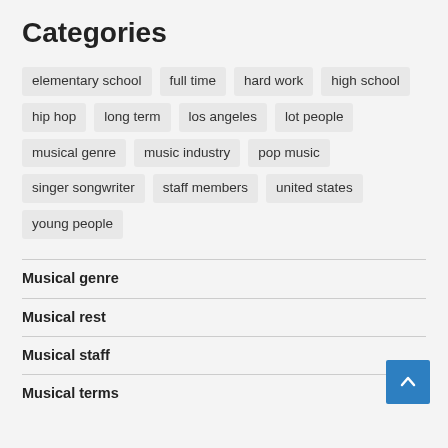Categories
elementary school
full time
hard work
high school
hip hop
long term
los angeles
lot people
musical genre
music industry
pop music
singer songwriter
staff members
united states
young people
Musical genre
Musical rest
Musical staff
Musical terms